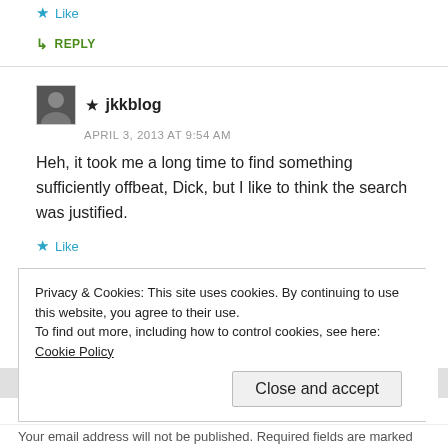★ Like
↳ REPLY
★ jkkblog
APRIL 3, 2013 AT 9:54 AM
Heh, it took me a long time to find something sufficiently offbeat, Dick, but I like to think the search was justified.
★ Like
↳ REPLY
Privacy & Cookies: This site uses cookies. By continuing to use this website, you agree to their use.
To find out more, including how to control cookies, see here: Cookie Policy
Close and accept
Your email address will not be published. Required fields are marked